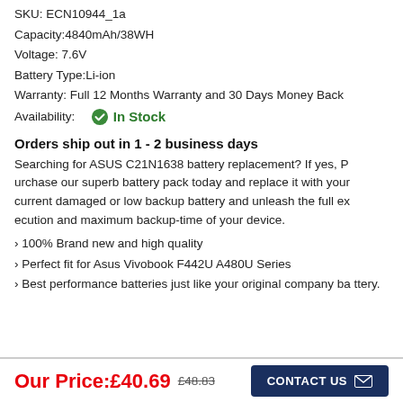SKU: ECN10944_1a
Capacity:4840mAh/38WH
Voltage: 7.6V
Battery Type:Li-ion
Warranty: Full 12 Months Warranty and 30 Days Money Back
Availability: In Stock
Orders ship out in 1 - 2 business days
Searching for ASUS C21N1638 battery replacement? If yes, Purchase our superb battery pack today and replace it with your current damaged or low backup battery and unleash the full execution and maximum backup-time of your device.
> 100% Brand new and high quality
> Perfect fit for Asus Vivobook F442U A480U Series
> Best performance batteries just like your original company battery.
Our Price:£40.69  £48.83